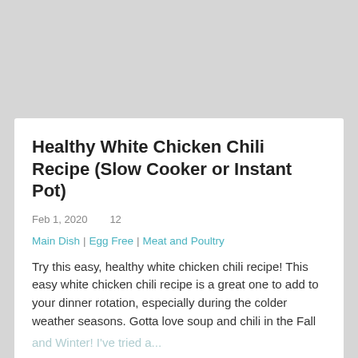[Figure (other): Gray background image placeholder area at the top of the page]
Healthy White Chicken Chili Recipe (Slow Cooker or Instant Pot)
Feb 1, 2020    12
Main Dish | Egg Free | Meat and Poultry
Try this easy, healthy white chicken chili recipe! This easy white chicken chili recipe is a great one to add to your dinner rotation, especially during the colder weather seasons. Gotta love soup and chili in the Fall and Winter! I've tried a...
READ THIS POST